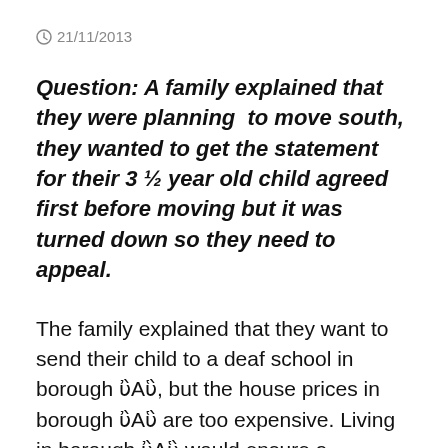21/11/2013
Question: A family explained that they were planning to move south, they wanted to get the statement for their 3 ½ year old child agreed first before moving but it was turned down so they need to appeal.
The family explained that they want to send their child to a deaf school in borough ‘A’, but the house prices in borough ‘A’ are too expensive. Living in borough ‘A’ would ensure a straightforward process with the